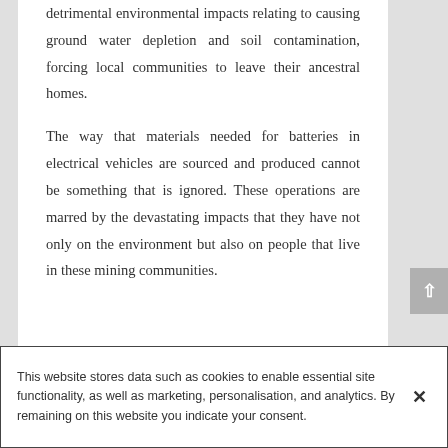detrimental environmental impacts relating to causing ground water depletion and soil contamination, forcing local communities to leave their ancestral homes.
The way that materials needed for batteries in electrical vehicles are sourced and produced cannot be something that is ignored. These operations are marred by the devastating impacts that they have not only on the environment but also on people that live in these mining communities.
This website stores data such as cookies to enable essential site functionality, as well as marketing, personalisation, and analytics. By remaining on this website you indicate your consent.